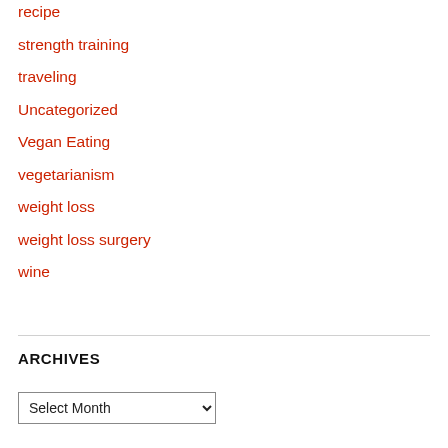recipe
strength training
traveling
Uncategorized
Vegan Eating
vegetarianism
weight loss
weight loss surgery
wine
ARCHIVES
Select Month